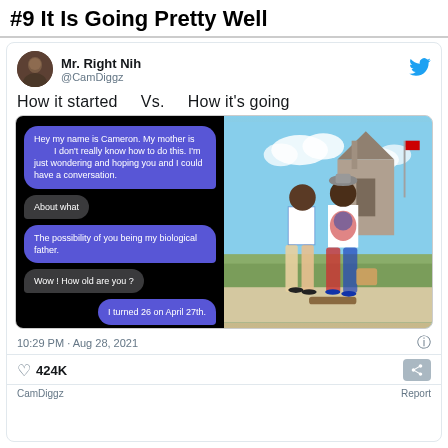#9 It Is Going Pretty Well
[Figure (screenshot): A tweet by @CamDiggz (Mr. Right Nih) showing a side-by-side comparison: 'How it started' shows a text message conversation about finding a biological father, and 'How it's going' shows two men (apparently father and son) posing together outdoors. The tweet has 424K likes and was posted at 10:29 PM on Aug 28, 2021.]
How it started   Vs.   How it's going
10:29 PM · Aug 28, 2021
424K